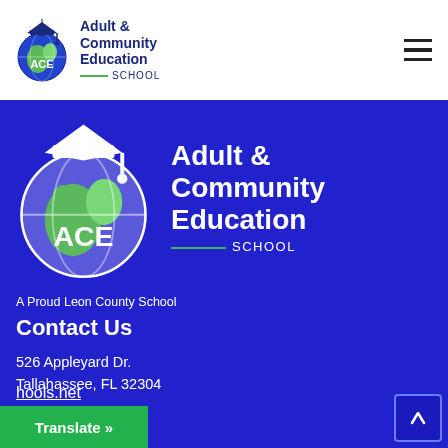Adult & Community Education SCHOOL — header logo with hamburger menu
[Figure (logo): ACE Adult & Community Education School logo (large, white version on blue background) with globe and graduation cap icon]
A Proud Leon County School
Contact Us
526 Appleyard Dr.
Tallahassee, FL 32304
Phone number:
850.717.2020
E-mail:
hools.net
Translate »